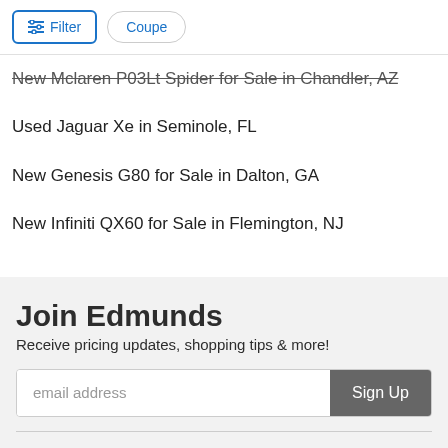Filter | Coupe
New Mclaren P03Lt Spider for Sale in Chandler, AZ
Used Jaguar Xe in Seminole, FL
New Genesis G80 for Sale in Dalton, GA
New Infiniti QX60 for Sale in Flemington, NJ
Join Edmunds
Receive pricing updates, shopping tips & more!
email address  Sign Up